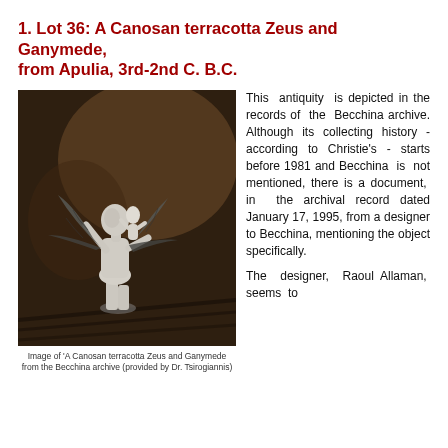1.  Lot 36:  A Canosan terracotta Zeus and Ganymede, from Apulia, 3rd-2nd C. B.C.
[Figure (photo): Photograph of a Canosan terracotta statue of Zeus and Ganymede, shown against a dark brownish background. The statue depicts a winged figure (Zeus as an eagle) carrying Ganymede.]
Image of 'A Canosan terracotta Zeus and Ganymede from the Becchina archive (provided by Dr. Tsirogiannis)
This antiquity is depicted in the records of the Becchina archive. Although its collecting history - according to Christie's - starts before 1981 and Becchina is not mentioned, there is a document, in the archival record dated January 17, 1995, from a designer to Becchina, mentioning the object specifically.
The designer, Raoul Allaman, seems to